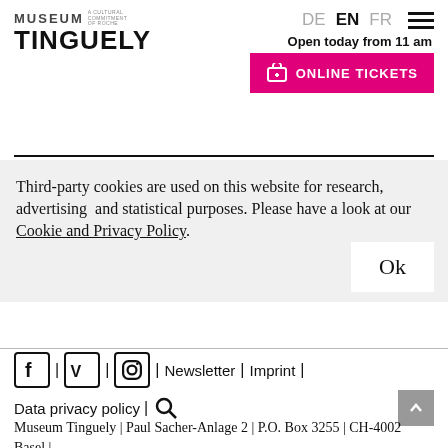[Figure (logo): Museum Tinguely logo with 'MUSEUM' text and 'A CULTURAL COMMITMENT OF ROCHE' subtitle, followed by large bold 'TINGUELY' text]
DE  EN  FR  Open today from 11 am  ONLINE TICKETS
Third-party cookies are used on this website for research, advertising and statistical purposes. Please have a look at our Cookie and Privacy Policy.
Ok
Facebook | Vimeo | Instagram | Newsletter | Imprint | Data privacy policy | Search
Museum Tinguely | Paul Sacher-Anlage 2 | P.O. Box 3255 | CH-4002 Basel |
tinguely.info@roche.com | +41 61 681 93...